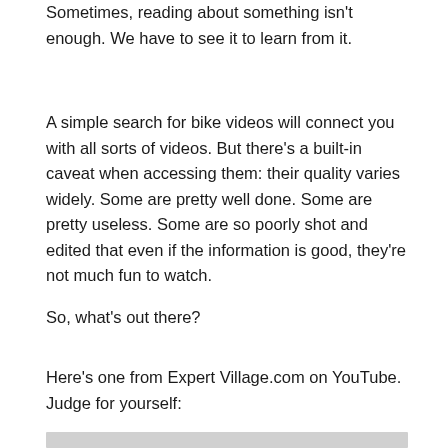Sometimes, reading about something isn't enough. We have to see it to learn from it.
A simple search for bike videos will connect you with all sorts of videos. But there's a built-in caveat when accessing them: their quality varies widely. Some are pretty well done. Some are pretty useless. Some are so poorly shot and edited that even if the information is good, they're not much fun to watch.
So, what's out there?
Here's one from Expert Village.com on YouTube. Judge for yourself:
[Figure (screenshot): Gray placeholder area for embedded video]